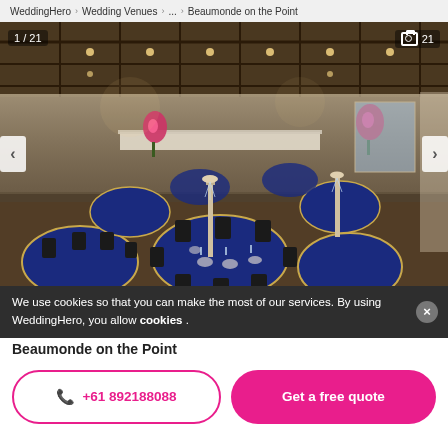WeddingHero > Wedding Venues > ... > Beaumonde on the Point
[Figure (photo): Interior photo of a wedding venue banquet hall with round tables covered in blue tablecloths, gold chairs, tall crystal candelabra centerpieces, floral arrangements, and a coffered ceiling with warm lighting. Photo counter shows 1/21.]
We use cookies so that you can make the most of our services. By using WeddingHero, you allow cookies .
Beaumonde on the Point
+61 892188088
Get a free quote